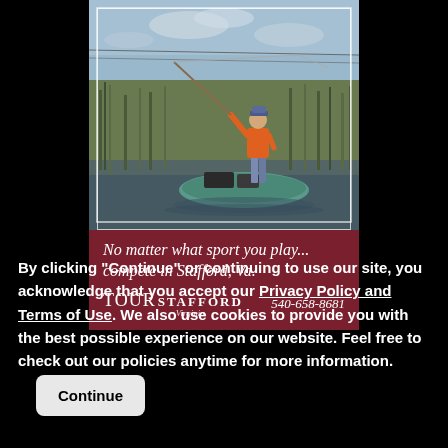[Figure (photo): Advertisement banner for Tour Stafford Virginia showing a person standing on a kayak fishing in a marshy waterway. Below the photo is a dark red/maroon banner with the text 'No matter what sport you play... compete in Stafford, Va.' along with the Tour Stafford Virginia logo and phone number 540-658-8681.]
By clicking "Continue" or continuing to use our site, you acknowledge that you accept our Privacy Policy and Terms of Use. We also use cookies to provide you with the best possible experience on our website. Feel free to check out our policies anytime for more information.
Continue